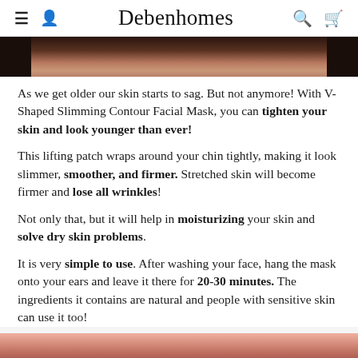Debenhomes
[Figure (photo): Partial photo showing skin/face, bottom portion visible as dark strip]
As we get older our skin starts to sag. But not anymore! With V-Shaped Slimming Contour Facial Mask, you can tighten your skin and look younger than ever!
This lifting patch wraps around your chin tightly, making it look slimmer, smoother, and firmer. Stretched skin will become firmer and lose all wrinkles!
Not only that, but it will help in moisturizing your skin and solve dry skin problems.
It is very simple to use. After washing your face, hang the mask onto your ears and leave it there for 20-30 minutes. The ingredients it contains are natural and people with sensitive skin can use it too!
[Figure (photo): Bottom partial photo showing product on pink background]